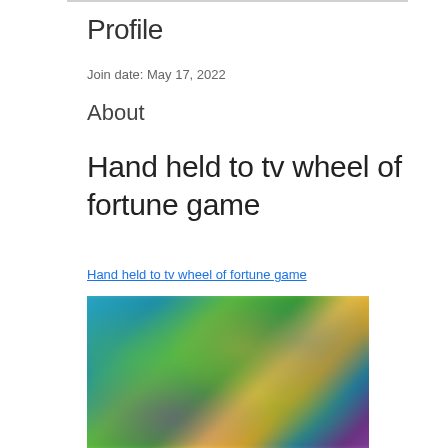Profile
Join date: May 17, 2022
About
Hand held to tv wheel of fortune game
Hand held to tv wheel of fortune game
[Figure (photo): Blurred screenshot of a Wheel of Fortune TV game interface showing colorful blurred images of contestants and game elements]